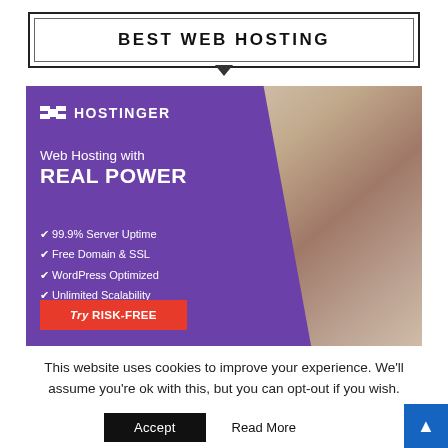BEST WEB HOSTING
[Figure (illustration): Hostinger web hosting advertisement banner. Purple background with diagonal cut revealing a photo of a woman at a laptop. Hostinger logo top left with white H icon. Text: 'Web Hosting with REAL POWER'. Bullet points: 99.9% Server Uptime, Free Domain & SSL, WordPress Optimized, Unlimited Scalability. Red CTA button: 'Try RISK-FREE'.]
This website uses cookies to improve your experience. We'll assume you're ok with this, but you can opt-out if you wish.
Accept
Read More